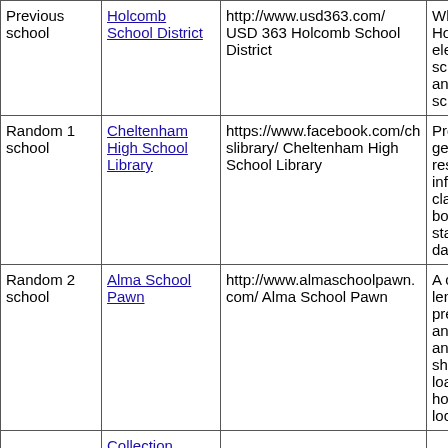| Type | Name | URL / Full Name | Description |
| --- | --- | --- | --- |
| Previous school | Holcomb School District | http://www.usd363.com/ USD 363 Holcomb School District | Who Holco elem scho and h scho |
| Random 1 school | Cheltenham High School Library | https://www.facebook.com/chslibrary/ Cheltenham High School Library | Prov gene resea info class book state datab |
| Random 2 school | Alma School Pawn | http://www.almaschoolpawn.com/ Alma School Pawn | A co lend preci and j and p shor loan hour loca |
|  | Collection Development |  |  |